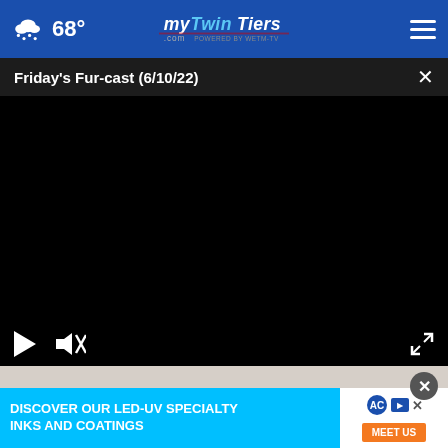68° mytwintiers.com
Friday's Fur-cast (6/10/22)
[Figure (screenshot): Black video player area with play button, mute button (slashed speaker), and fullscreen expand icon in bottom corners]
[Figure (screenshot): Advertisement banner: 'DISCOVER OUR LED-UV SPECIALTY INKS AND COATINGS' with MEET US button and AC logo, with close X button]